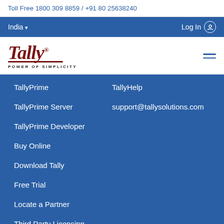Toll Free 1800 309 8859 / +91 80 25638240
India ▾   Log In
[Figure (logo): Tally logo with 'POWER OF SIMPLICITY' tagline]
TallyPrime
TallyHelp
TallyPrime Server
support@tallysolutions.com
TallyPrime Developer
Buy Online
Download Tally
Free Trial
Locate a Partner
Third Party Licensing
Resources
Tally Softw...